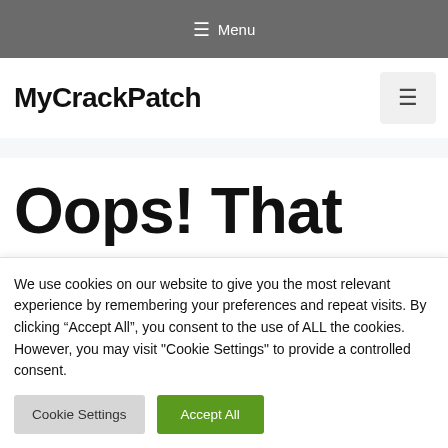≡ Menu
MyCrackPatch
Oops! That page
We use cookies on our website to give you the most relevant experience by remembering your preferences and repeat visits. By clicking “Accept All”, you consent to the use of ALL the cookies. However, you may visit "Cookie Settings" to provide a controlled consent.
Cookie Settings | Accept All